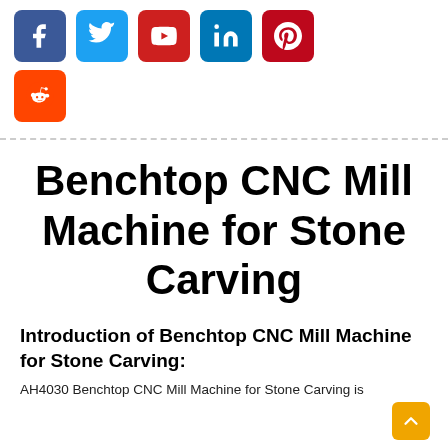[Figure (other): Social media share buttons: Facebook (blue), Twitter (light blue), YouTube (red), LinkedIn (blue), Pinterest (dark red), Reddit (orange)]
Benchtop CNC Mill Machine for Stone Carving
Introduction of Benchtop CNC Mill Machine for Stone Carving:
AH4030 Benchtop CNC Mill Machine for Stone Carving is